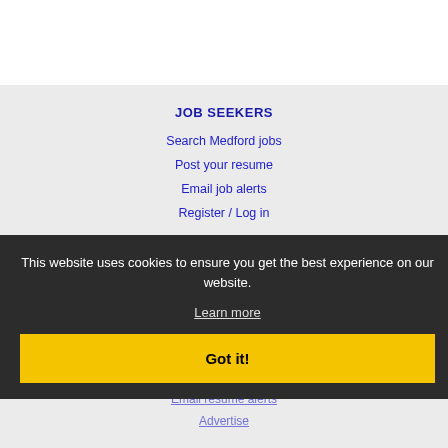JOB SEEKERS
Search Medford jobs
Post your resume
Email job alerts
Register / Log in
This website uses cookies to ensure you get the best experience on our website.
Learn more
Got it!
Post jobs
Search resumes
Email resume alerts
Advertise